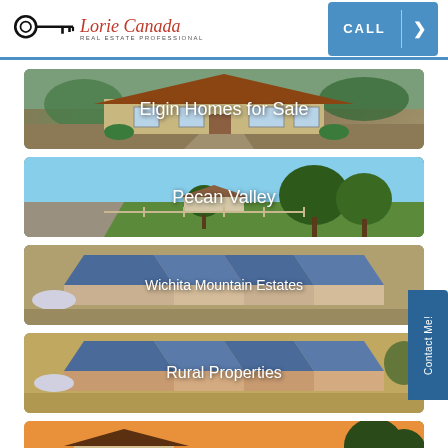Lorie Canada Real Estate Professional — CALL
[Figure (photo): Elgin Homes for Sale — brick ranch-style house with landscaping]
[Figure (photo): Pecan Valley — rural property with trees and green lawn]
[Figure (photo): Wichita Mountain Estates — aerial view of homes with blue roofs]
[Figure (photo): Rural Properties — aerial view of homes with blue roofs in dry landscape]
[Figure (photo): Homes for Sale $100,000–$150,000 — house at sunset (partially visible)]